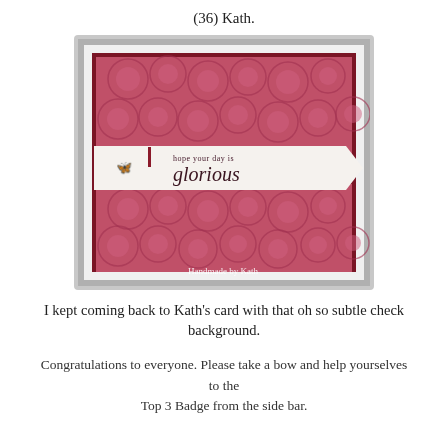(36) Kath.
[Figure (photo): Handmade greeting card with pink floral background, a white banner reading 'hope your day is glorious', a small gold butterfly embellishment, and watermark 'Handmade by Kath'.]
I kept coming back to Kath's card with that oh so subtle check background.
Congratulations to everyone. Please take a bow and help yourselves to the Top 3 Badge from the side bar.